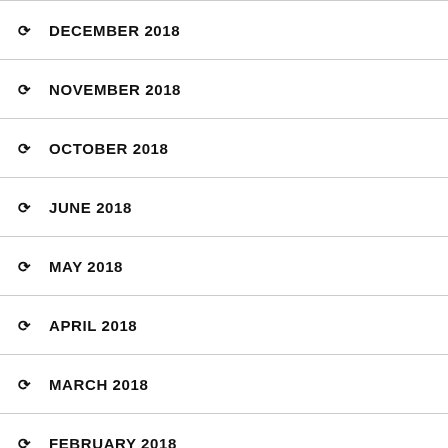DECEMBER 2018
NOVEMBER 2018
OCTOBER 2018
JUNE 2018
MAY 2018
APRIL 2018
MARCH 2018
FEBRUARY 2018
JANUARY 2018